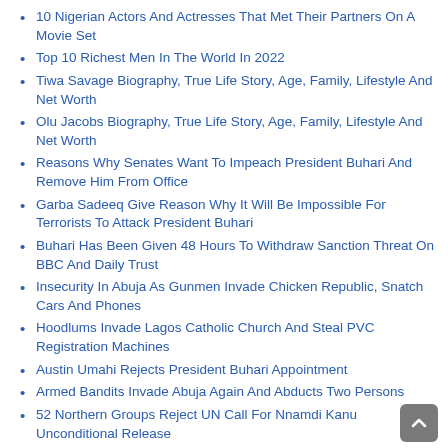10 Nigerian Actors And Actresses That Met Their Partners On A Movie Set
Top 10 Richest Men In The World In 2022
Tiwa Savage Biography, True Life Story, Age, Family, Lifestyle And Net Worth
Olu Jacobs Biography, True Life Story, Age, Family, Lifestyle And Net Worth
Reasons Why Senates Want To Impeach President Buhari And Remove Him From Office
Garba Sadeeq Give Reason Why It Will Be Impossible For Terrorists To Attack President Buhari
Buhari Has Been Given 48 Hours To Withdraw Sanction Threat On BBC And Daily Trust
Insecurity In Abuja As Gunmen Invade Chicken Republic, Snatch Cars And Phones
Hoodlums Invade Lagos Catholic Church And Steal PVC Registration Machines
Austin Umahi Rejects President Buhari Appointment
Armed Bandits Invade Abuja Again And Abducts Two Persons
52 Northern Groups Reject UN Call For Nnamdi Kanu Unconditional Release
No 2023 Election In South East If FG Refuses To Release Nnamdi Kanu – Igbo Group Vow